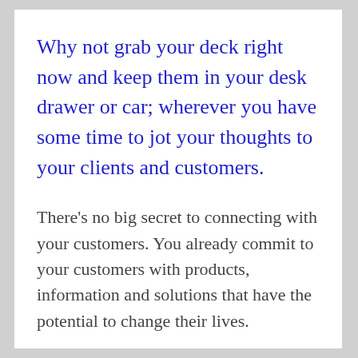Why not grab your deck right now and keep them in your desk drawer or car; wherever you have some time to jot your thoughts to your clients and customers.
There’s no big secret to connecting with your customers. You already commit to your customers with products, information and solutions that have the potential to change their lives.
[Figure (other): Broken image placeholder with alt text: Content creation made easy!]